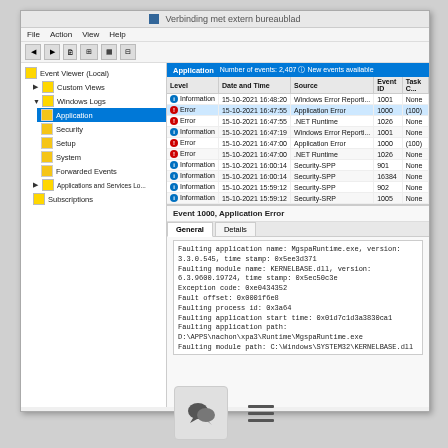[Figure (screenshot): Windows Event Viewer screenshot showing Application logs with errors including Application Error (Event 1000), .NET Runtime (Event 1026), and Information events from Security-SPP. The detail panel shows Event 1000, Application Error with faulting module KERNELBASE.dll and application MgspaRuntime.exe.]
[Figure (other): Chat/comment bubble icon in a square box and a hamburger menu icon at the bottom of the page.]